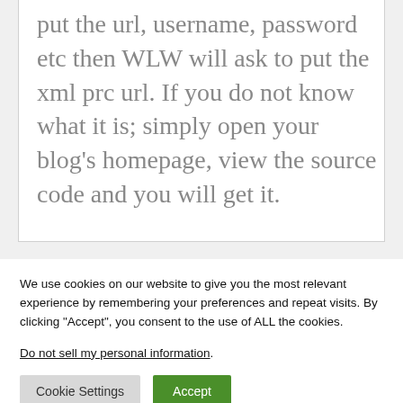put the url, username, password etc then WLW will ask to put the xml prc url. If you do not know what it is; simply open your blog’s homepage, view the source code and you will get it.
We use cookies on our website to give you the most relevant experience by remembering your preferences and repeat visits. By clicking “Accept”, you consent to the use of ALL the cookies.
Do not sell my personal information.
Cookie Settings   Accept